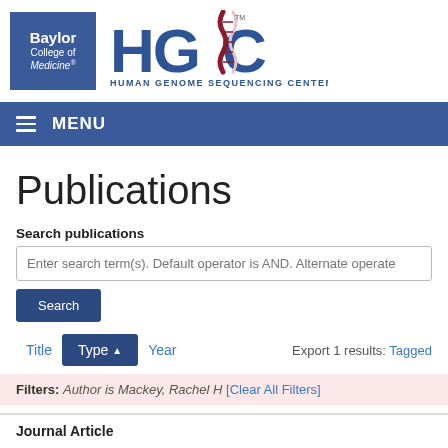[Figure (logo): Baylor College of Medicine logo (blue square) and HGSC Human Genome Sequencing Center logo]
MENU
Publications
Search publications
Enter search term(s). Default operator is AND. Alternate operate
Search
Title  Type▲  Year  Export 1 results: Tagged
Filters: Author is Mackey, Rachel H [Clear All Filters]
Journal Article